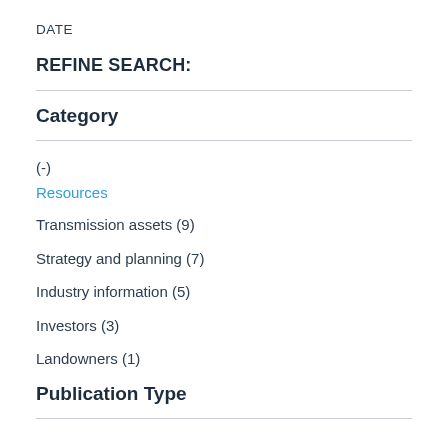DATE
REFINE SEARCH:
Category
(-)
Resources
Transmission assets (9)
Strategy and planning (7)
Industry information (5)
Investors (3)
Landowners (1)
Publication Type